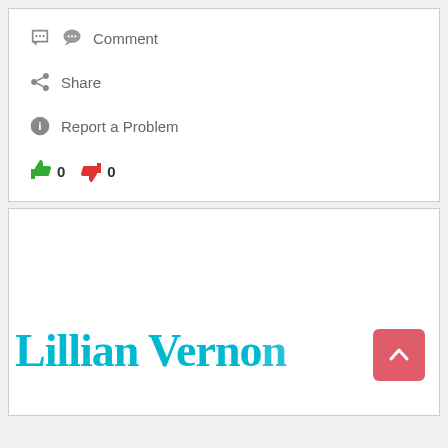Comment
Share
Report a Problem
👍 0  👎 0
[Figure (logo): Lillian Vernon brand logo in cyan/teal color with a back-to-top button (pink/red square with upward arrow) overlapping on the right side]